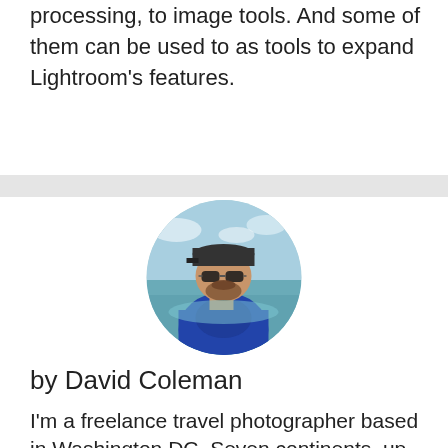processing, to image tools. And some of them can be used to as tools to expand Lightroom's features.
[Figure (photo): Circular cropped photo of David Coleman, a bearded man wearing sunglasses and a blue wetsuit/rash guard, standing in ocean water with a beach and sky in the background.]
by David Coleman
I'm a freelance travel photographer based in Washington DC. Seven continents, up mountains